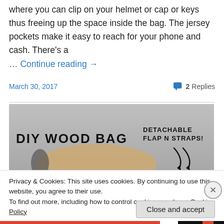where you can clip on your helmet or cap or keys thus freeing up the space inside the bag. The jersey pockets make it easy to reach for your phone and cash. There's a … Continue reading →
March 30, 2017
2 Replies
[Figure (photo): DIY Wood Bag promotional image with text 'DIY WOOD BAG' on the left and 'DETACHABLE FLAP N STRAPS!' on the right, showing a wooden bag with detachable flap]
Privacy & Cookies: This site uses cookies. By continuing to use this website, you agree to their use. To find out more, including how to control cookies, see here: Cookie Policy
Close and accept